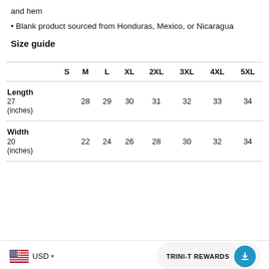and hem
• Blank product sourced from Honduras, Mexico, or Nicaragua
Size guide
|  | S | M | L | XL | 2XL | 3XL | 4XL | 5XL |
| --- | --- | --- | --- | --- | --- | --- | --- | --- |
| Length (inches) | 27 | 28 | 29 | 30 | 31 | 32 | 33 | 34 |
| Width (inches) | 20 | 22 | 24 | 26 | 28 | 30 | 32 | 34 |
USD  TRINI-T REWARDS